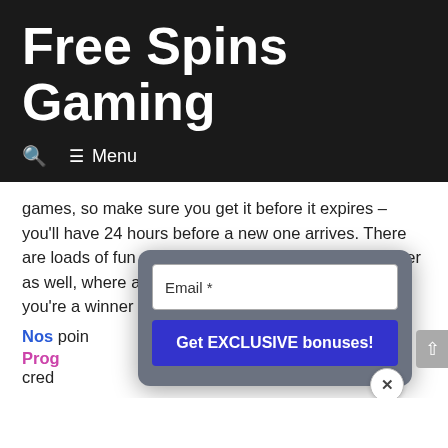Free Spins Gaming
Menu
games, so make sure you get it before it expires – you'll have 24 hours before a new one arrives. There are loads of fun monthly promotions that you can enter as well, where a lucky draw will determine whether you're a winner of a share of casi
[Figure (screenshot): Modal popup with Email * input field and 'Get EXCLUSIVE bonuses!' blue button, with close X button]
Nos
poin
Prog
cred